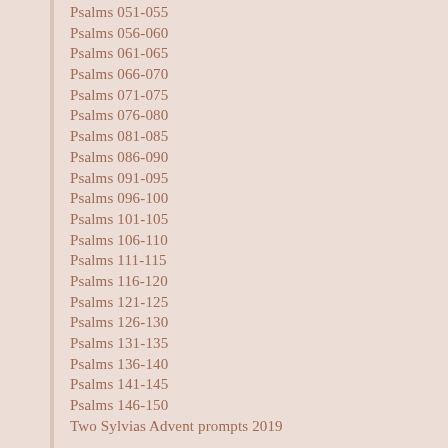Psalms 051-055
Psalms 056-060
Psalms 061-065
Psalms 066-070
Psalms 071-075
Psalms 076-080
Psalms 081-085
Psalms 086-090
Psalms 091-095
Psalms 096-100
Psalms 101-105
Psalms 106-110
Psalms 111-115
Psalms 116-120
Psalms 121-125
Psalms 126-130
Psalms 131-135
Psalms 136-140
Psalms 141-145
Psalms 146-150
Two Sylvias Advent prompts 2019